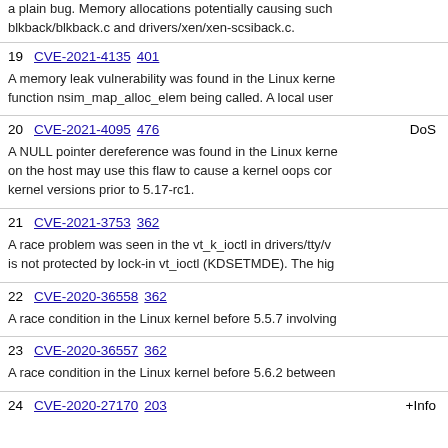a plain bug. Memory allocations potentially causing such blkback/blkback.c and drivers/xen/xen-scsiback.c.
19 CVE-2021-4135 401
A memory leak vulnerability was found in the Linux kerne function nsim_map_alloc_elem being called. A local user
20 CVE-2021-4095 476 DoS
A NULL pointer dereference was found in the Linux kern on the host may use this flaw to cause a kernel oops cor kernel versions prior to 5.17-rc1.
21 CVE-2021-3753 362
A race problem was seen in the vt_k_ioctl in drivers/tty/v is not protected by lock-in vt_ioctl (KDSETMDE). The hig
22 CVE-2020-36558 362
A race condition in the Linux kernel before 5.5.7 involving
23 CVE-2020-36557 362
A race condition in the Linux kernel before 5.6.2 between
24 CVE-2020-27170 203 +Info